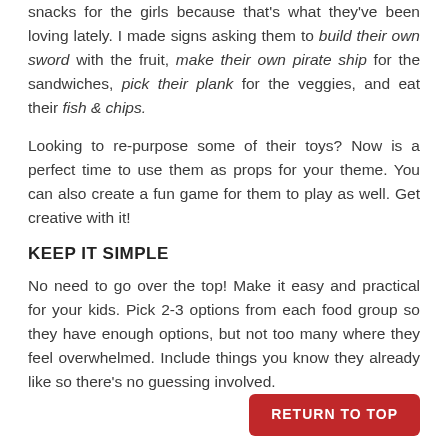Everything is more fun with a theme! I chose pirate themed snacks for the girls because that's what they've been loving lately. I made signs asking them to build their own sword with the fruit, make their own pirate ship for the sandwiches, pick their plank for the veggies, and eat their fish & chips.
Looking to re-purpose some of their toys? Now is a perfect time to use them as props for your theme. You can also create a fun game for them to play as well. Get creative with it!
KEEP IT SIMPLE
No need to go over the top! Make it easy and practical for your kids. Pick 2-3 options from each food group so they have enough options, but not too many where they feel overwhelmed. Include things you know they already like so there's no guessing involved.